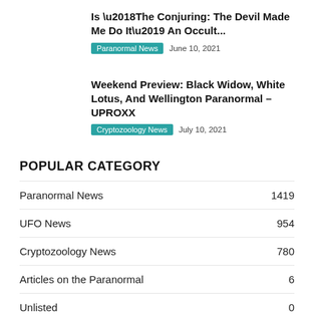Is ‘The Conjuring: The Devil Made Me Do It’ An Occult...
Paranormal News   June 10, 2021
Weekend Preview: Black Widow, White Lotus, And Wellington Paranormal – UPROXX
Cryptozoology News   July 10, 2021
POPULAR CATEGORY
Paranormal News   1419
UFO News   954
Cryptozoology News   780
Articles on the Paranormal   6
Unlisted   0